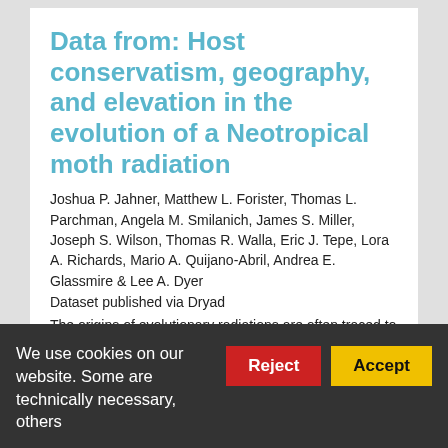Data from: Host conservatism, geography, and elevation in the evolution of a Neotropical moth radiation
Joshua P. Jahner, Matthew L. Forister, Thomas L. Parchman, Angela M. Smilanich, James S. Miller, Joseph S. Wilson, Thomas R. Walla, Eric J. Tepe, Lora A. Richards, Mario A. Quijano-Abril, Andrea E. Glassmire & Lee A. Dyer
Dataset published via Dryad
The origins of evolutionary radiations are often traced to the colonization of novel adaptive zones, including unoccupied habitats or unutilized resources. For herbivorous insects, the predominant mechanism of diversification is typically assumed to be a shift onto a
We use cookies on our website. Some are technically necessary, others